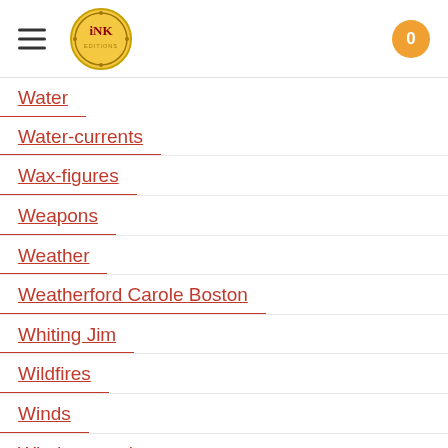INK logo, navigation menu, cart (0)
Water
Water-currents
Wax-figures
Weapons
Weather
Weatherford Carole Boston
Whiting Jim
Wildfires
Winds
Windsor-castle
Wolves
Woman In History
Women
Women Airforce Service Pilots
Women-airforce-service-pilots